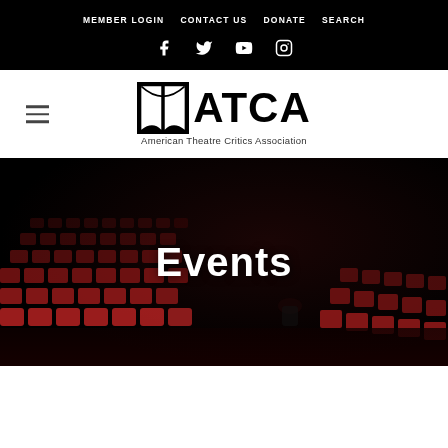MEMBER LOGIN   CONTACT US   DONATE   SEARCH
[Figure (logo): Social media icons: Facebook, Twitter, YouTube, Instagram on black background]
[Figure (logo): ATCA American Theatre Critics Association logo with theatre curtain icon]
[Figure (photo): Dark theatre interior with rows of red seats, with 'Events' text overlay in white bold font]